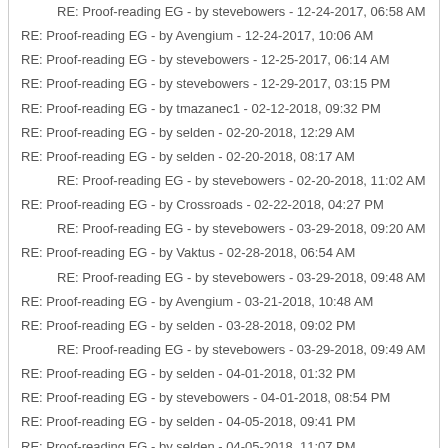RE: Proof-reading EG - by stevebowers - 12-24-2017, 06:58 AM
RE: Proof-reading EG - by Avengium - 12-24-2017, 10:06 AM
RE: Proof-reading EG - by stevebowers - 12-25-2017, 06:14 AM
RE: Proof-reading EG - by stevebowers - 12-29-2017, 03:15 PM
RE: Proof-reading EG - by tmazanec1 - 02-12-2018, 09:32 PM
RE: Proof-reading EG - by selden - 02-20-2018, 12:29 AM
RE: Proof-reading EG - by selden - 02-20-2018, 08:17 AM
RE: Proof-reading EG - by stevebowers - 02-20-2018, 11:02 AM
RE: Proof-reading EG - by Crossroads - 02-22-2018, 04:27 PM
RE: Proof-reading EG - by stevebowers - 03-29-2018, 09:20 AM
RE: Proof-reading EG - by Vaktus - 02-28-2018, 06:54 AM
RE: Proof-reading EG - by stevebowers - 03-29-2018, 09:48 AM
RE: Proof-reading EG - by Avengium - 03-21-2018, 10:48 AM
RE: Proof-reading EG - by selden - 03-28-2018, 09:02 PM
RE: Proof-reading EG - by stevebowers - 03-29-2018, 09:49 AM
RE: Proof-reading EG - by selden - 04-01-2018, 01:32 PM
RE: Proof-reading EG - by stevebowers - 04-01-2018, 08:54 PM
RE: Proof-reading EG - by selden - 04-05-2018, 09:41 PM
RE: Proof-reading EG - by selden - 04-05-2018, 11:07 PM
RE: Proof-reading EG - by stevebowers - 04-06-2018, 02:50 AM
RE: Proof-reading EG - by stevebowers - 04-06-2018, 03:00 AM
RE: Proof-reading EG - by selden - 04-09-2018, 04:11 AM
RE: Proof-reading EG - by stevebowers - 04-09-2018, 05:22 AM
RE: Proof-reading EG - by selden - 04-09-2018, 09:40 PM
RE: Proof-reading EG - by Crossroads - 06-14-2018, 06:38 AM